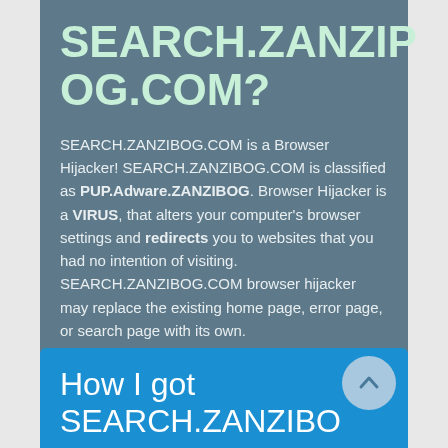SEARCH.ZANZIBOG.COM?
SEARCH.ZANZIBOG.COM is a Browser Hijacker! SEARCH.ZANZIBOG.COM is classified as PUP.Adware.ZANZIBOG. Browser Hijacker is a VIRUS, that alters your computer's browser settings and redirects you to websites that you had no intention of visiting. SEARCH.ZANZIBOG.COM browser hijacker may replace the existing home page, error page, or search page with its own.
How I got SEARCH.ZANZIBO